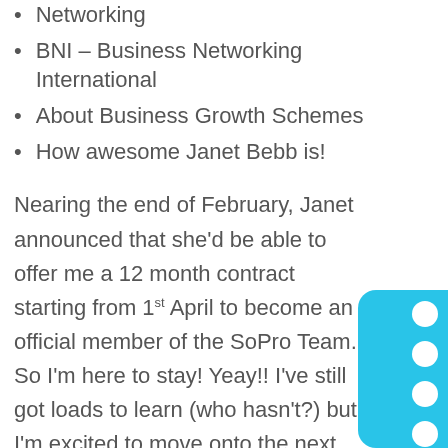Networking
BNI – Business Networking International
About Business Growth Schemes
How awesome Janet Bebb is!
Nearing the end of February, Janet announced that she'd be able to offer me a 12 month contract starting from 1st April to become an official member of the SoPro Team. So I'm here to stay! Yeay!! I've still got loads to learn (who hasn't?) but I'm excited to move onto the next chapter in my life.
Janet has encouraged and pushed me to do many things which I wouldn't have thought I'd be able to do (or not do very well) and she's already helped me to grow so much in just 4